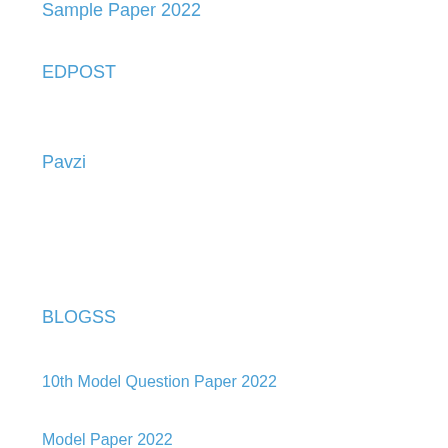Sample Paper 2022
EDPOST
Pavzi
BLOGSS
10th Model Question Paper 2022
Model Paper 2022
JNANABHUMIAP
Board Model Paper 2022
99 Networks
25 Penny